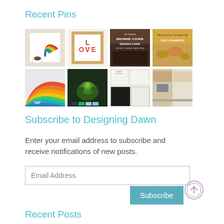Recent Pins
[Figure (photo): Grid of 8 Pinterest pin images in 2 rows of 4: row 1 shows a rainbow art print with coffee, a LOVE sign, brownie cookie dough cake recipe, mushroom stroganoff recipe; row 2 shows colorful stacked curves with TAP label, a succulent plant, kitchen cabinet makeover, and a kitchen interior.]
Subscribe to Designing Dawn
Enter your email address to subscribe and receive notifications of new posts.
Email Address
Subscribe
Recent Posts